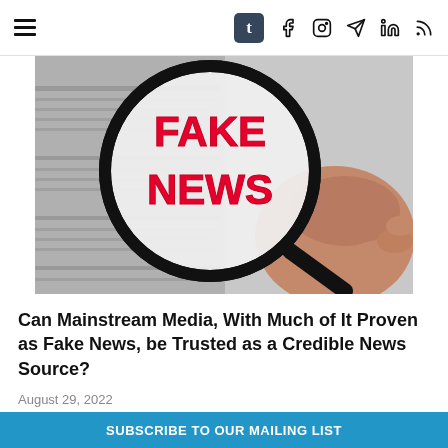Navigation bar with hamburger menu and social icons: Tumblr, Facebook, Instagram, Telegram, LinkedIn, RSS
[Figure (photo): A hand holding a magnifying glass over a newspaper, with the text FAKE NEWS in large red bold letters visible through the lens, black and white background newspaper]
Can Mainstream Media, With Much of It Proven as Fake News, be Trusted as a Credible News Source?
August 29, 2022
[Figure (photo): Partial view of a second article image, appears to show a person in a light blue shirt]
SUBSCRIBE TO OUR MAILING LIST